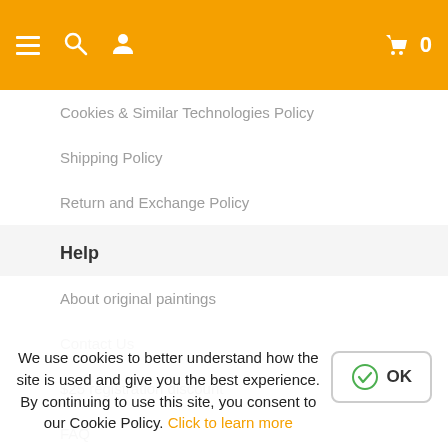Navigation header with menu, search, user, cart icons
Cookies & Similar Technologies Policy
Shipping Policy
Return and Exchange Policy
Help
About original paintings
Contact Us
$25 registration discount
FAQ
Recreation what is it?
Info links
We use cookies to better understand how the site is used and give you the best experience. By continuing to use this site, you consent to our Cookie Policy. Click to learn more